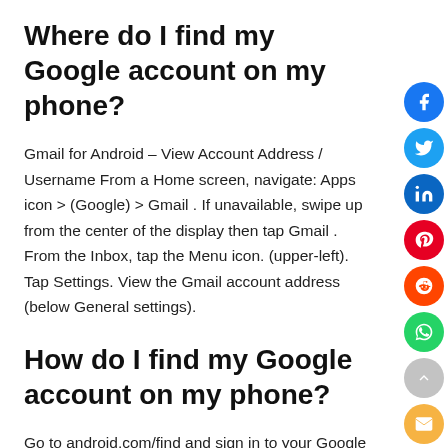Where do I find my Google account on my phone?
Gmail for Android – View Account Address / Username From a Home screen, navigate: Apps icon > (Google) > Gmail . If unavailable, swipe up from the center of the display then tap Gmail . From the Inbox, tap the Menu icon. (upper-left). Tap Settings. View the Gmail account address (below General settings).
How do I find my Google account on my phone?
Go to android.com/find and sign in to your Google Account. If you have more than one phone, click the lost phone at the top of the screen. If your lost phone has